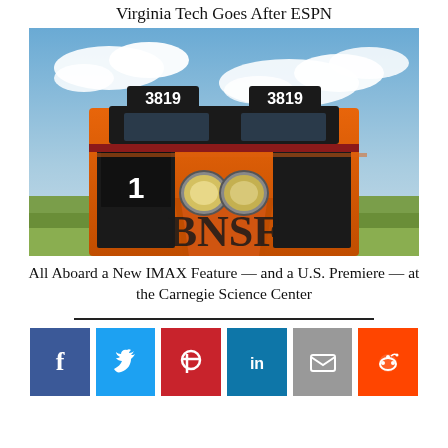Virginia Tech Goes After ESPN
[Figure (photo): Front view of an orange BNSF locomotive #3819 in a field under a partly cloudy blue sky.]
All Aboard a New IMAX Feature — and a U.S. Premiere — at the Carnegie Science Center
[Figure (infographic): Social sharing buttons: Facebook, Twitter, Pinterest, LinkedIn, Email, Reddit]